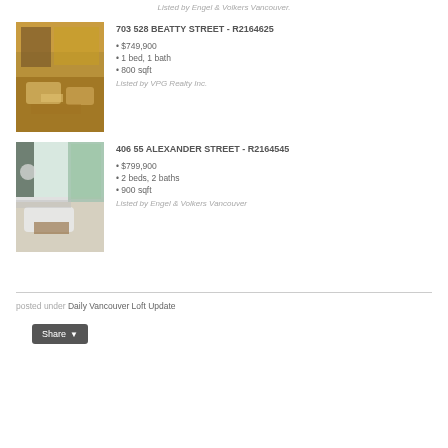Listed by Engel & Volkers Vancouver.
703 528 BEATTY STREET - R2164625
• $749,900
• 1 bed, 1 bath
• 800 sqft
Listed by VPG Realty Inc.
406 55 ALEXANDER STREET - R2164545
• $799,900
• 2 beds, 2 baths
• 900 sqft
Listed by Engel & Volkers Vancouver
posted under Daily Vancouver Loft Update
Share